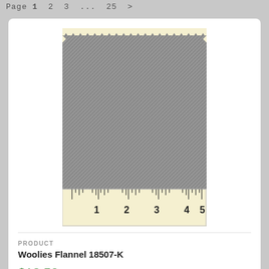Page 1  2  3  ...  25  >
[Figure (photo): Gray flannel fabric swatch shown on a cream/yellow background with a ruler measuring approximately 5 inches across the bottom. The fabric has a woven tweed-like texture in heathered gray tones.]
PRODUCT
Woolies Flannel 18507-K
$12.50
[Figure (photo): Dark fabric swatch with vertical stripes, black background with lighter gray/charcoal vertical stripes and small white dots/stars pattern.]